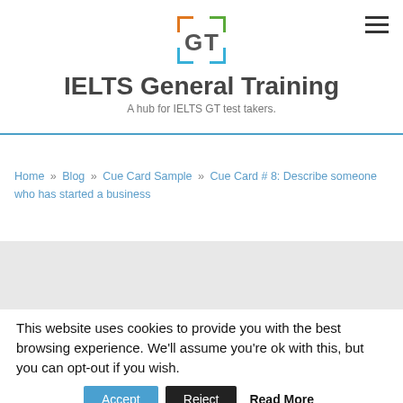[Figure (logo): GT logo with colored bracket squares in orange, green, and blue, with letters G and T inside]
IELTS General Training
A hub for IELTS GT test takers.
Home » Blog » Cue Card Sample » Cue Card # 8: Describe someone who has started a business
This website uses cookies to provide you with the best browsing experience. We'll assume you're ok with this, but you can opt-out if you wish.